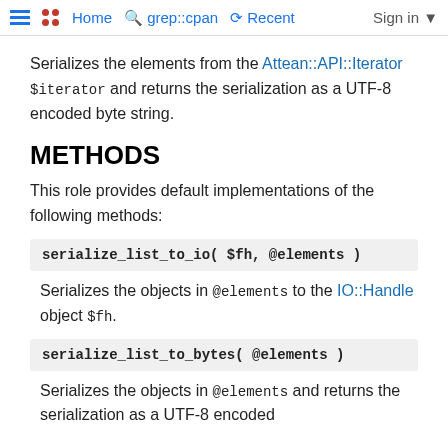Home  grep::cpan  Recent  Sign in
Serializes the elements from the Attean::API::Iterator $iterator and returns the serialization as a UTF-8 encoded byte string.
METHODS
This role provides default implementations of the following methods:
serialize_list_to_io( $fh, @elements )
Serializes the objects in @elements to the IO::Handle object $fh.
serialize_list_to_bytes( @elements )
Serializes the objects in @elements and returns the serialization as a UTF-8 encoded